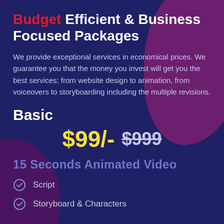Budget Efficient & Business Focused Packages
We provide exceptional services in economical prices. We guarantee you that the money you invest will get you the best services; from website design to animation, from voiceovers to storyboarding including the multiple revisions.
Basic
$99/- $999
15 Seconds Animated Video
Script
Storyboard & Characters